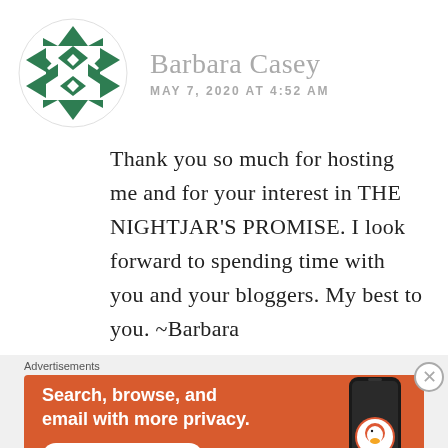[Figure (illustration): Circular avatar with green geometric/diamond pattern on white background]
Barbara Casey
MAY 7, 2020 AT 4:52 AM
Thank you so much for hosting me and for your interest in THE NIGHTJAR'S PROMISE. I look forward to spending time with you and your bloggers. My best to you. ~Barbara
Advertisements
[Figure (screenshot): DuckDuckGo advertisement banner: 'Search, browse, and email with more privacy. All in One Free App' with phone image and DuckDuckGo logo on orange background]